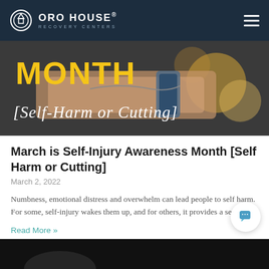ORO HOUSE® RECOVERY CENTERS
[Figure (photo): Banner image showing text 'MONTH [Self-Harm or Cutting]' in bold yellow and white script lettering overlaid on a photo of a person's wrist with jewelry and a watch]
March is Self-Injury Awareness Month [Self Harm or Cutting]
March 2, 2022
Numbness, emotional distress and overwhelm can lead people to self harm. For some, self-injury wakes them up, and for others, it provides a sense of
Read More »
[Figure (photo): Partial bottom preview of another article image, showing a dark background]